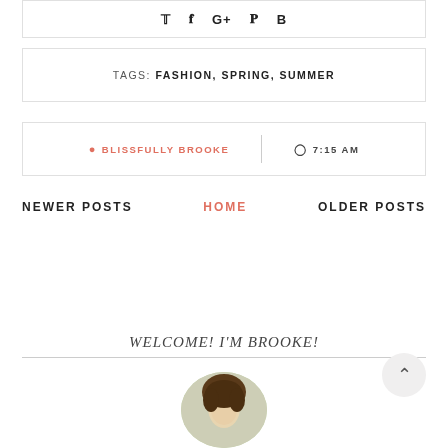[Figure (infographic): Social share icons: Twitter, Facebook, Google+, Pinterest, Bold B]
TAGS: FASHION, SPRING, SUMMER
BLISSFULLY BROOKE | 7:15 AM
NEWER POSTS  HOME  OLDER POSTS
WELCOME! I'M BROOKE!
[Figure (photo): Circular profile photo of Brooke, partially visible, showing hair and face among trees/nature background]